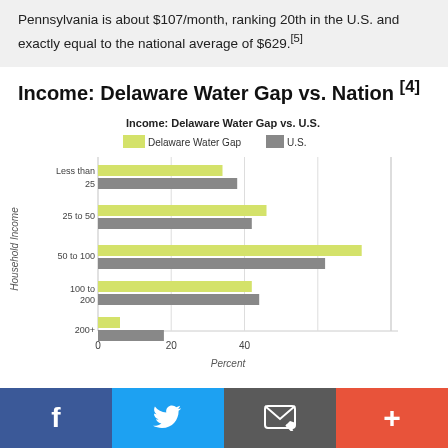Pennsylvania is about $107/month, ranking 20th in the U.S. and exactly equal to the national average of $629.[5]
Income: Delaware Water Gap vs. Nation [4]
[Figure (grouped-bar-chart): Income: Delaware Water Gap vs. U.S.]
Facebook Twitter Email +